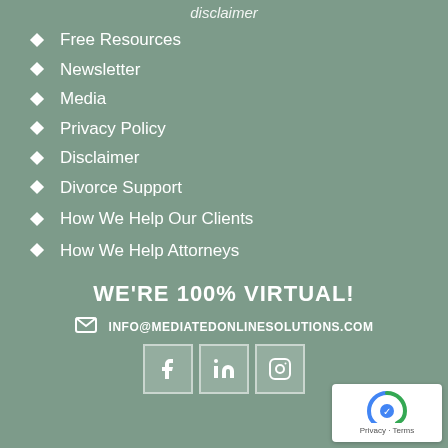disclaimer
Free Resources
Newsletter
Media
Privacy Policy
Disclaimer
Divorce Support
How We Help Our Clients
How We Help Attorneys
WE'RE 100% VIRTUAL!
INFO@MEDIATEDONLINESOLUTIONS.COM
[Figure (logo): Social media icons: Facebook, LinkedIn, Instagram]
[Figure (other): reCAPTCHA badge with privacy and terms links]